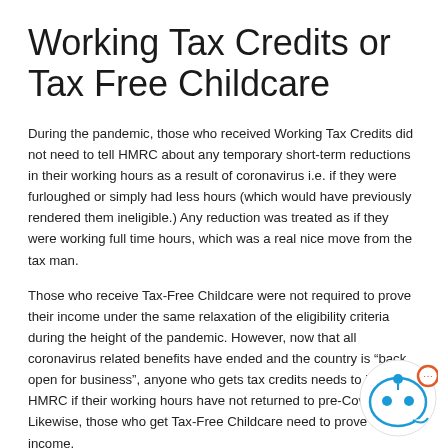Working Tax Credits or Tax Free Childcare
During the pandemic, those who received Working Tax Credits did not need to tell HMRC about any temporary short-term reductions in their working hours as a result of coronavirus i.e. if they were furloughed or simply had less hours (which would have previously rendered them ineligible.) Any reduction was treated as if they were working full time hours, which was a real nice move from the tax man.
Those who receive Tax-Free Childcare were not required to prove their income under the same relaxation of the eligibility criteria during the height of the pandemic. However, now that all coronavirus related benefits have ended and the country is "back open for business", anyone who gets tax credits needs to inform HMRC if their working hours have not returned to pre-Covid levels. Likewise, those who get Tax-Free Childcare need to prove their income.
You now must work a certain number of hours each week to